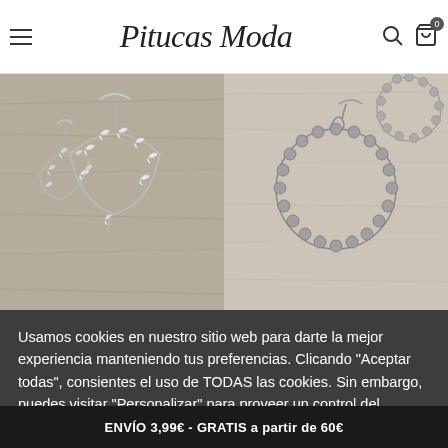Pitucas Moda
[Figure (photo): Two product photos of earrings side by side: left shows silver bird/swallow shaped earrings on wooden background, right shows a circular hoop earring with metallic beads on wooden background]
Usamos cookies en nuestro sitio web para darte la mejor experiencia manteniendo tus preferencias. Clicando "Aceptar todas", consientes el uso de TODAS las cookies. Sin embargo, puedes visitar "Personalizar" para proveer un control del consentimiento.  Leer Más
Personalizar
Aceptar Todas
ENVÍO 3,99€ - GRATIS a partir de 60€